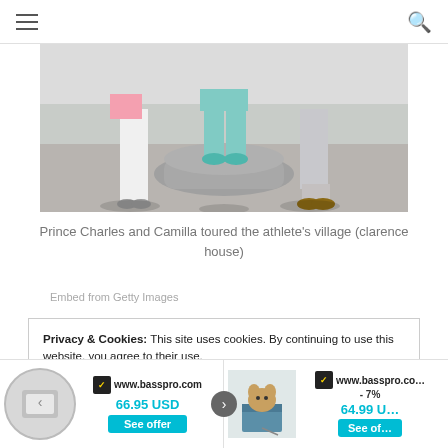Navigation header with hamburger menu and search icon
[Figure (photo): Photo of people's legs and feet standing near a large decorative stone pedestal outdoors]
Prince Charles and Camilla toured the athlete’s village (clarence house)
Embed from Getty Images
Privacy & Cookies: This site uses cookies. By continuing to use this website, you agree to their use.
To find out more, including how to control cookies, see here: Cookie Policy
[Figure (screenshot): Ad banner showing two Bass Pro shop advertisements. Left: product with arrow navigation, price 66.95 USD, See offer button. Right: dog in box product, -7% discount, 64.99 USD, See offer button.]